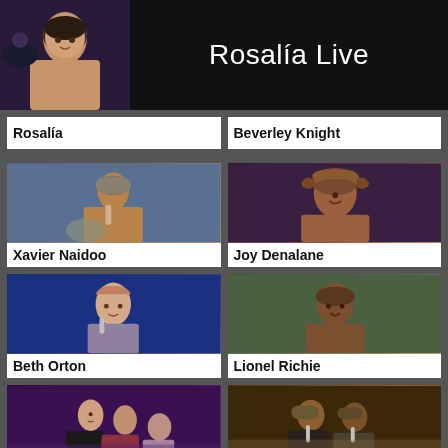Rosalía Live
Rosalía
Beverley Knight
[Figure (photo): Xavier Naidoo performing with microphone, wearing flat cap]
Xavier Naidoo
[Figure (photo): Joy Denalane singing, curly reddish hair, eyes closed]
Joy Denalane
[Figure (photo): Beth Orton performing on stage with microphone]
Beth Orton
[Figure (photo): Lionel Richie performing on stage]
Lionel Richie
[Figure (photo): Pussycat Dolls performing on stage]
Pussycat Dolls
[Figure (photo): Söhne Mannheims two members performing on stage]
Söhne Mannheims